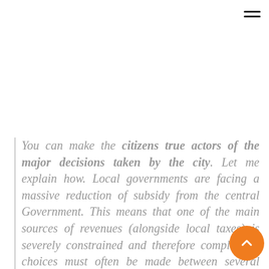You can make the citizens true actors of the major decisions taken by the city. Let me explain how. Local governments are facing a massive reduction of subsidy from the central Government. This means that one of the main sources of revenues (alongside local taxes) is severely constrained and therefore complicated choices must often be made between several projects, when they cannot all